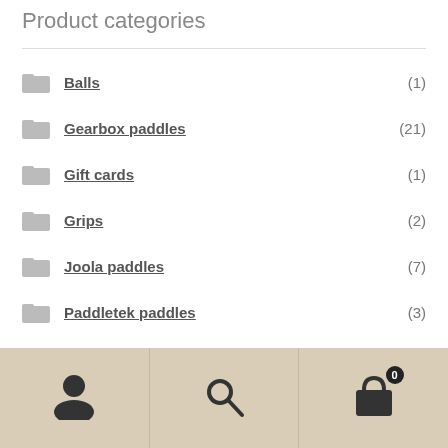Product categories
Balls (1)
Gearbox paddles (21)
Gift cards (1)
Grips (2)
Joola paddles (7)
Paddletek paddles (3)
Pickleball Machines (1)
Selkirk paddles (6)
User | Search | Cart (0)